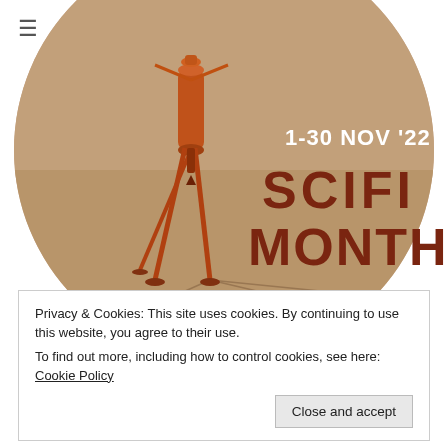[Figure (illustration): Circular hero image showing a sci-fi robot/tripod machine standing on a sandy desert landscape, with text '1-30 NOV '22' in white and 'SCIFI MONTH' in large dark red letters overlaid on the right side of the circle.]
Privacy & Cookies: This site uses cookies. By continuing to use this website, you agree to their use.
To find out more, including how to control cookies, see here: Cookie Policy
Close and accept
Recent Posts